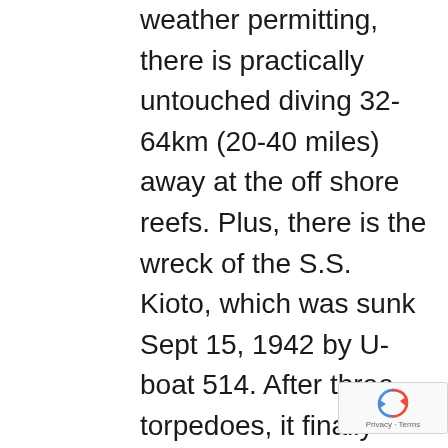weather permitting, there is practically untouched diving 32-64km (20-40 miles) away at the off shore reefs. Plus, there is the wreck of the S.S. Kioto, which was sunk Sept 15, 1942 by U-boat 514. After three torpedoes, it finally sunk in 12m (40ft) of water and the scattered debris are still visible.
As you can see, Tobago is a small island, but there are more than 40 dive sites to choose from. There is also bicycling, birding,